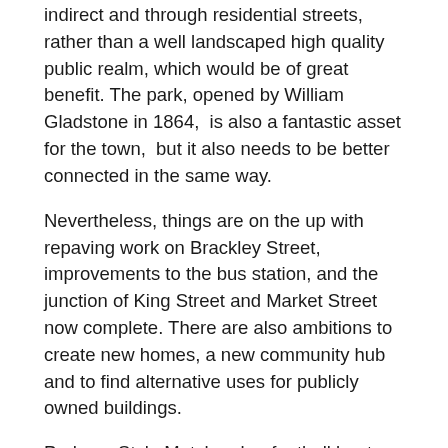indirect and through residential streets, rather than a well landscaped high quality public realm, which would be of great benefit. The park, opened by William Gladstone in 1864,  is also a fantastic asset for the town,  but it also needs to be better connected in the same way.
Nevertheless, things are on the up with repaving work on Brackley Street, improvements to the bus station, and the junction of King Street and Market Street now complete. There are also ambitions to create new homes, a new community hub and to find alternative uses for publicly owned buildings.
Perhaps Stylo Matchmaker football boots will be on sale again in Farnworth soon?
Your Comments